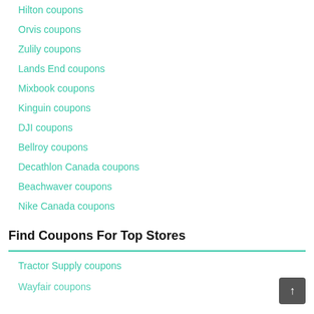Hilton coupons
Orvis coupons
Zulily coupons
Lands End coupons
Mixbook coupons
Kinguin coupons
DJI coupons
Bellroy coupons
Decathlon Canada coupons
Beachwaver coupons
Nike Canada coupons
Find Coupons For Top Stores
Tractor Supply coupons
Wayfair coupons